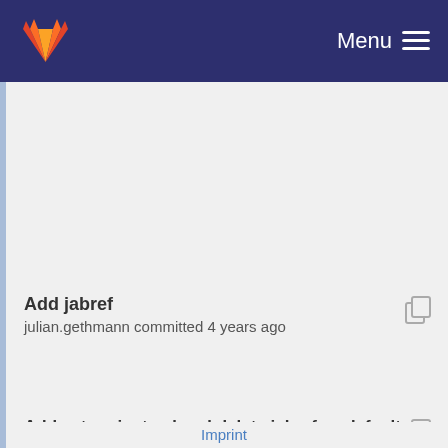Menu
Add jabref
julian.gethmann committed 4 years ago
Add zotero instead and delete jabref as default
julian.gethmann committed 3 years ago
Imprint